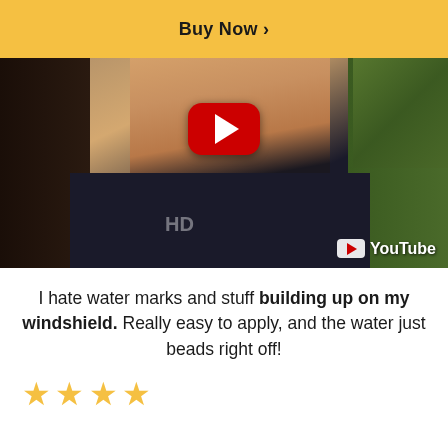Buy Now >
[Figure (screenshot): YouTube video thumbnail showing a man in a dark shirt smiling, outdoors near a car with trees in background. Red YouTube play button visible in center top area. YouTube logo watermark in bottom right corner.]
I hate water marks and stuff building up on my windshield. Really easy to apply, and the water just beads right off!
[Figure (other): Four yellow star rating icons partially visible at the bottom of the page]